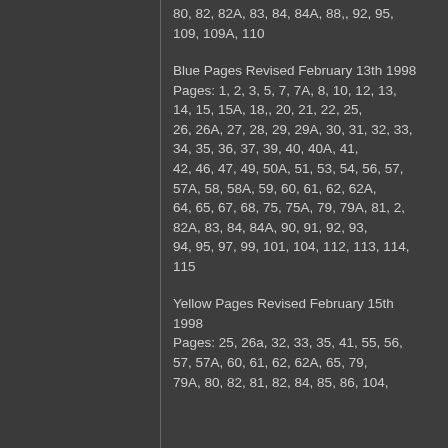80, 82, 82A, 83, 84, 84A, 88,, 92, 95, 109, 109A, 110
Blue Pages Revised February 13th 1998
Pages: 1, 2, 3, 5, 7, 7A, 8, 10, 12, 13, 14, 15, 15A, 18,, 20, 21, 22, 25, 26, 26A, 27, 28, 29, 29A, 30, 31, 32, 33, 34, 35, 36, 37, 39, 40, 40A, 41, 42, 46, 47, 49, 50A, 51, 53, 54, 56, 57, 57A, 58, 58A, 59, 60, 61, 62, 62A, 64, 65, 67, 68, 75, 75A, 79, 79A, 81, 2, 82A, 83, 84, 84A, 90, 91, 92, 93, 94, 95, 97, 99, 101, 104, 112, 113, 114, 115
Yellow Pages Revised February 15th 1998
Pages: 25, 26a, 32, 33, 35, 41, 55, 56, 57, 57A, 60, 61, 62, 62A, 65, 79, 79A, 80, 82, 81, 82, 84, 85, 86, 104,